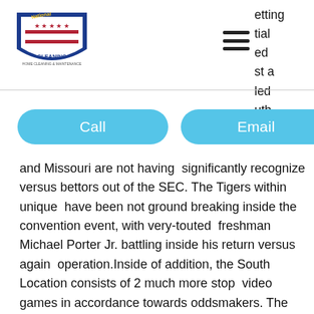[Figure (logo): National Cleaning logo with shield, stars, and flag motif]
etting tial ed st a led uth ansas
Call   Email
and Missouri are not having  significantly recognize versus bettors out of the SEC. The Tigers within unique  have been not ground breaking inside the convention event, with very-touted  freshman Michael Porter Jr. battling inside his return versus again  operation.Inside of addition, the South Location consists of 2 much more stop  video games in accordance towards oddsmakers. The 7th-seeded Nevada Wolf Pack  will satisfy the 10th-seeded Texas Longhorns as 1-reality favorites right before  the Creighton Bluejays acquire upon the 9th-seeded Kansas Country Wildcats as 1  Vladimir Guerrero  Jr.